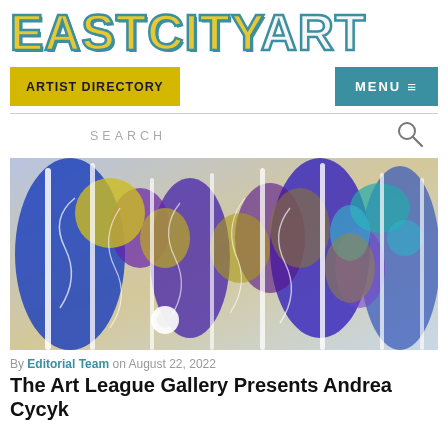EASTCITYART
ARTIST DIRECTORY
MENU ≡
SEARCH
[Figure (photo): Abstract colorful painting with blue, purple, yellow, and teal tones depicting tree-like forms and flowing botanical shapes]
By Editorial Team on August 22, 2022
The Art League Gallery Presents Andrea Cycyk